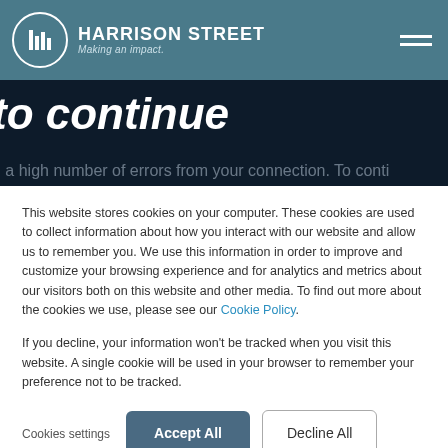HARRISON STREET Making an impact.
to continue
d a high number of errors from your connection. To conti
This website stores cookies on your computer. These cookies are used to collect information about how you interact with our website and allow us to remember you. We use this information in order to improve and customize your browsing experience and for analytics and metrics about our visitors both on this website and other media. To find out more about the cookies we use, please see our Cookie Policy.
If you decline, your information won't be tracked when you visit this website. A single cookie will be used in your browser to remember your preference not to be tracked.
Cookies settings    Accept All    Decline All